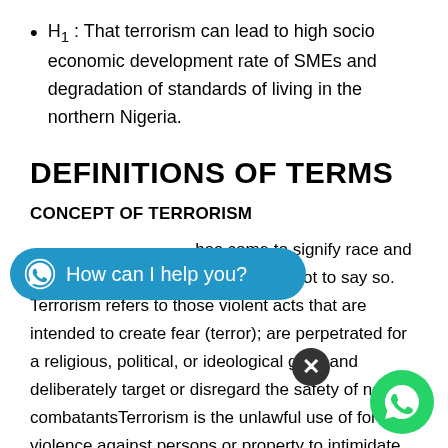H₁ : That terrorism can lead to high socio economic development rate of SMEs and degradation of standards of living in the northern Nigeria.
DEFINITIONS OF TERMS
CONCEPT OF TERRORISM
has come to signify race and religion though everyone is careful not to say so. Terrorism refers to those violent acts that are intended to create fear (terror); are perpetrated for a religious, political, or ideological goal; and deliberately target or disregard the safety of non-combatantsTerrorism is the unlawful use of force or violence against persons or property to intimidate or coerce a government or its citizens to further certain political or objective, In the Nigerian context, terrorism is violence